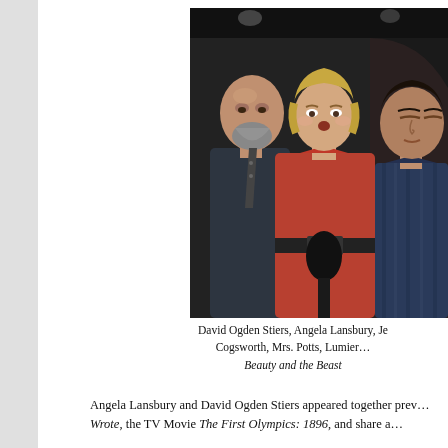[Figure (photo): Three people standing together in what appears to be a recording studio or stage setting. On the left is a bald man with a grey beard wearing a dark shirt and tie. In the center is a woman with short blonde hair wearing a red/rust-colored blouse. On the right is a dark-haired man with closed eyes wearing a striped shirt. The background is dark.]
David Ogden Stiers, Angela Lansbury, Je... Cogsworth, Mrs. Potts, Lumier... Beauty and the Beast
Angela Lansbury and David Ogden Stiers appeared together prev... Wrote, the TV Movie The First Olympics: 1896, and share a...